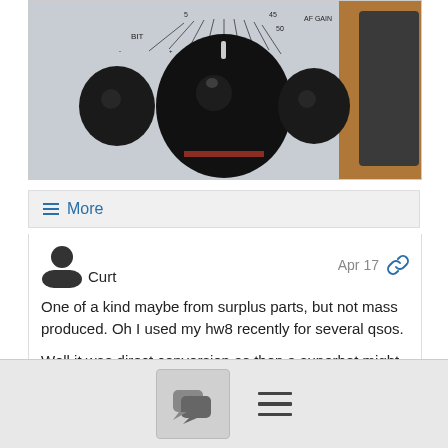[Figure (photo): Close-up photo of vintage radio equipment with knobs and dials on a light grey panel, including a large center knob, smaller side knobs, and labels including AF GAIN. A wooden surface is visible.]
≡ More
Curt   Apr 17
One of a kind maybe from surplus parts, but not mass produced. Oh I used my hw8 recently for several qsos.
Well it was direct conversion as then a superhet might have at least doubled its cost. The pc revolution brought the useful crystals at low cost.